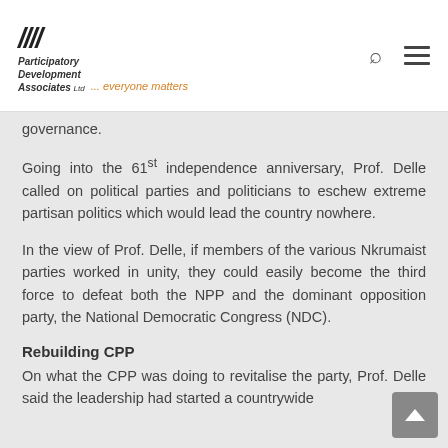Participatory Development Associates Ltd ... everyone matters
governance.
Going into the 61st independence anniversary, Prof. Delle called on political parties and politicians to eschew extreme partisan politics which would lead the country nowhere.
In the view of Prof. Delle, if members of the various Nkrumaist parties worked in unity, they could easily become the third force to defeat both the NPP and the dominant opposition party, the National Democratic Congress (NDC).
Rebuilding CPP
On what the CPP was doing to revitalise the party, Prof. Delle said the leadership had started a countrywide